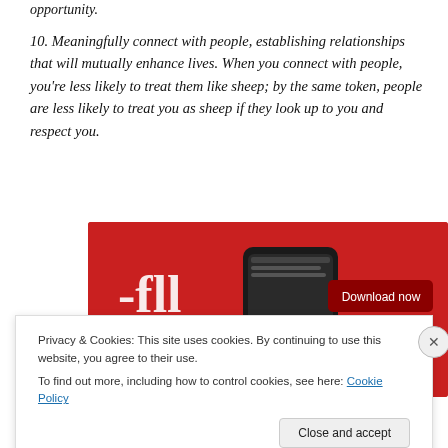opportunity.
10. Meaningfully connect with people, establishing relationships that will mutually enhance lives. When you connect with people, you’re less likely to treat them like sheep; by the same token, people are less likely to treat you as sheep if they look up to you and respect you.
[Figure (photo): Advertisement banner on red background showing a smartphone with a podcast or audio app interface displayed. Text on the image reads '-fluted' in large letters. A button reads 'Download now'.]
Privacy & Cookies: This site uses cookies. By continuing to use this website, you agree to their use.
To find out more, including how to control cookies, see here: Cookie Policy
Close and accept